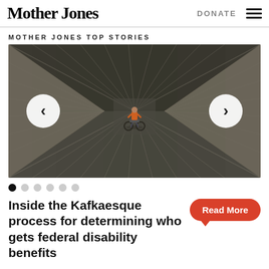Mother Jones | DONATE ☰
MOTHER JONES TOP STORIES
[Figure (illustration): Dark overhead perspective illustration of a long corridor with converging lines leading to a small figure in an orange shirt seated in a wheelchair at the center. Left and right navigation arrows (< and >) are overlaid on the image. Six pagination dots appear below the image, the first dot filled black.]
Inside the Kafkaesque process for determining who gets federal disability benefits